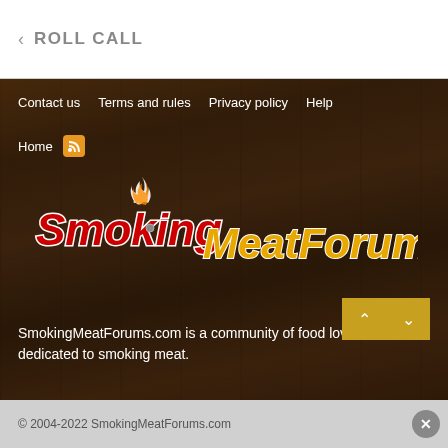< ROLL CALL
Contact us
Terms and rules
Privacy policy
Help
Home
[Figure (logo): SmokingMeatForums.com logo — cursive red 'Smoking' text with flame, bold gold italic 'MeatForums.com' text, on dark wood background]
SmokingMeatForums.com is a community of food lovers dedicated to smoking meat.
© 2004-2022 SmokingMeatForums.com